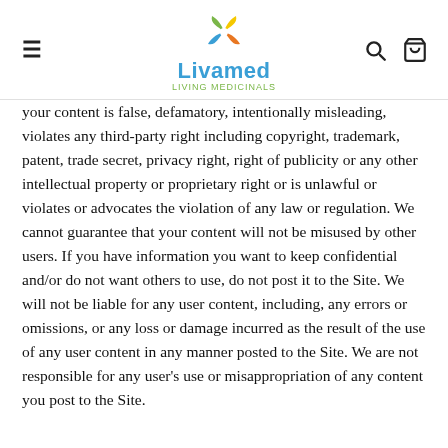Livamed Living Medicinals
your content is false, defamatory, intentionally misleading, violates any third-party right including copyright, trademark, patent, trade secret, privacy right, right of publicity or any other intellectual property or proprietary right or is unlawful or violates or advocates the violation of any law or regulation. We cannot guarantee that your content will not be misused by other users. If you have information you want to keep confidential and/or do not want others to use, do not post it to the Site. We will not be liable for any user content, including, any errors or omissions, or any loss or damage incurred as the result of the use of any user content in any manner posted to the Site. We are not responsible for any user's use or misappropriation of any content you post to the Site.